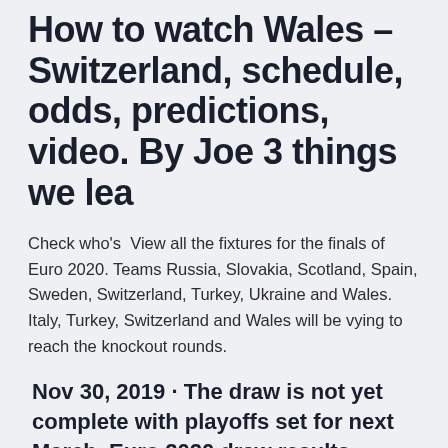How to watch Wales – Switzerland, schedule, odds, predictions, video. By Joe 3 things we lea
Check who's  View all the fixtures for the finals of Euro 2020. Teams Russia, Slovakia, Scotland, Spain, Sweden, Switzerland, Turkey, Ukraine and Wales. Italy, Turkey, Switzerland and Wales will be vying to reach the knockout rounds.
Nov 30, 2019 · The draw is not yet complete with playoffs set for next March. Euro 2020 draw results: Portugal, Germany, France in group of death while England gets Croatia Switzerland, Turkey, Wales...